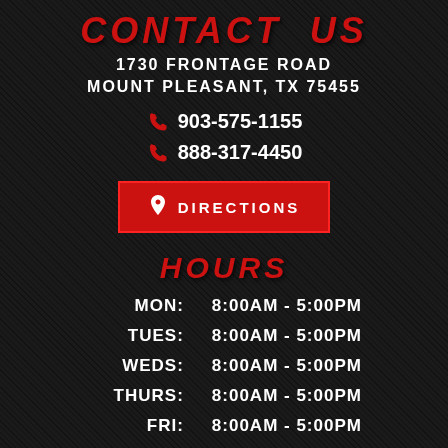CONTACT US
1730 FRONTAGE ROAD
MOUNT PLEASANT, TX 75455
903-575-1155
888-317-4450
[Figure (other): Red button with map pin icon and text DIRECTIONS]
HOURS
| Day | Hours |
| --- | --- |
| MON: | 8:00AM - 5:00PM |
| TUES: | 8:00AM - 5:00PM |
| WEDS: | 8:00AM - 5:00PM |
| THURS: | 8:00AM - 5:00PM |
| FRI: | 8:00AM - 5:00PM |